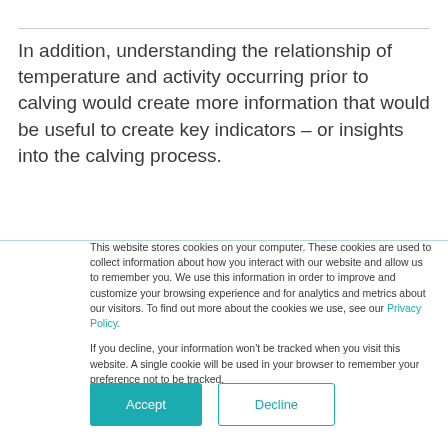In addition, understanding the relationship of temperature and activity occurring prior to calving would create more information that would be useful to create key indicators – or insights into the calving process.
This website stores cookies on your computer. These cookies are used to collect information about how you interact with our website and allow us to remember you. We use this information in order to improve and customize your browsing experience and for analytics and metrics about our visitors. To find out more about the cookies we use, see our Privacy Policy.
If you decline, your information won't be tracked when you visit this website. A single cookie will be used in your browser to remember your preference not to be tracked.
Accept
Decline